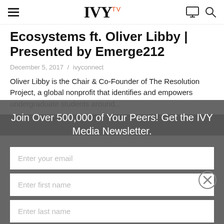IVY TV
Ecosystems ft. Oliver Libby | Presented by Emerge212
December 5, 2017 / ivyconnect
Oliver Libby is the Chair & Co-Founder of The Resolution Project, a global nonprofit that identifies and empowers undergraduate students around...
[Figure (screenshot): Dark video thumbnail area]
Join Over 500,000 of Your Peers! Get the IVY Media Newsletter.
Enter your email
Enter first name
Enter last name
SUBSCRIBE